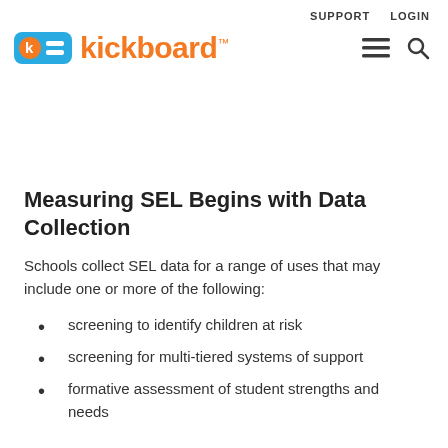SUPPORT   LOGIN
[Figure (logo): Kickboard logo with teal icon and orange wordmark 'kickboard™']
Measuring SEL Begins with Data Collection
Schools collect SEL data for a range of uses that may include one or more of the following:
screening to identify children at risk
screening for multi-tiered systems of support
formative assessment of student strengths and needs